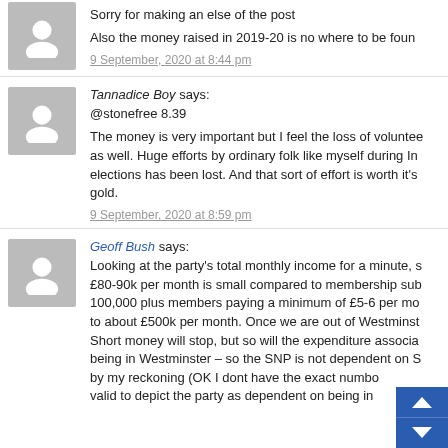Sorry for making an else of the post
Also the money raised in 2019-20 is no where to be found
9 September, 2020 at 8:44 pm
Tannadice Boy says:
@stonefree 8.39
The money is very important but I feel the loss of volunteers as well. Huge efforts by ordinary folk like myself during In elections has been lost. And that sort of effort is worth it's gold.
9 September, 2020 at 8:59 pm
Geoff Bush says:
Looking at the party's total monthly income for a minute, s £80-90k per month is small compared to membership sub 100,000 plus members paying a minimum of £5-6 per mo to about £500k per month. Once we are out of Westminst Short money will stop, but so will the expenditure associa being in Westminster – so the SNP is not dependent on S by my reckoning (OK I dont have the exact numbo valid to depict the party as dependent on being in